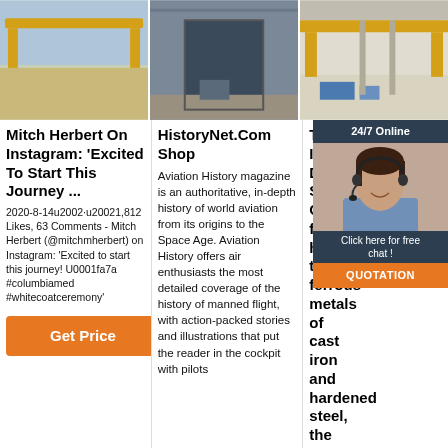[Figure (photo): Yellow overhead crane in industrial facility, open yard]
[Figure (photo): Interior of large industrial warehouse with large door opening]
[Figure (photo): Yellow overhead crane inside industrial building]
Mitch Herbert On Instagram: 'Excited To Start This Journey ...
2020-8-14u2002·u20021,812 Likes, 63 Comments - Mitch Herbert (@mitchmherbert) on Instagram: 'Excited to start this journey! U0001fa7a #columbiamed #whitecoatceremony'
[Figure (other): Get Price orange button]
HistoryNet.Com Shop
Aviation History magazine is an authoritative, in-depth history of world aviation from its origins to the Space Age. Aviation History offers air enthusiasts the most detailed coverage of the history of manned flight, with action-packed stories and illustrations that put the reader in the cockpit with pilots
Tipped Inserts Degree Shape C for hard turning ferrous metals of cast iron and hardened steel, the cbn insert cutting edges are made with polycrystalline cubic boron nitride, indexable inserts with cbn tips are precision
2021-7-20u200... pcbn inserts degree shape C for hard turning ferrous metals of cast iron and hardened steel, the cbn insert cutting edges are made with polycrystalline cubic boron nitride, indexable inserts with cbn tips are precision
[Figure (photo): 24/7 Online chat support agent woman with headset, click here for free chat, QUOTATION button]